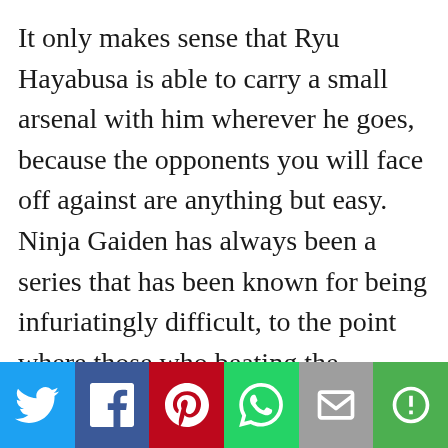It only makes sense that Ryu Hayabusa is able to carry a small arsenal with him wherever he goes, because the opponents you will face off against are anything but easy. Ninja Gaiden has always been a series that has been known for being infuriatingly difficult, to the point where those who beating the original game on the Xbox was quite an accomplishment. However, although Ninja Gaiden Sigma Plus retains this high level of difficulty for those who choose to take it on, there is also a mode that widens the game's playability window to those who are less skilled in action
[Figure (infographic): Social media sharing bar with six buttons: Twitter (blue), Facebook (dark blue), Pinterest (red), WhatsApp (green), Email (grey), More (green)]